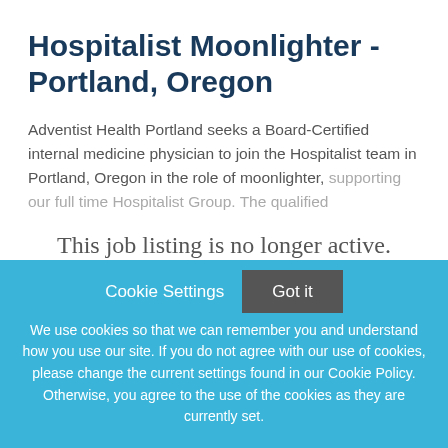Hospitalist Moonlighter - Portland, Oregon
Adventist Health Portland seeks a Board-Certified internal medicine physician to join the Hospitalist team in Portland, Oregon in the role of moonlighter, supporting our full time Hospitalist Group. The qualified
This job listing is no longer active.
Cookie Settings
Got it
We use cookies so that we can remember you and understand how you use our site. If you do not agree with our use of cookies, please change the current settings found in our Cookie Policy. Otherwise, you agree to the use of the cookies as they are currently set.